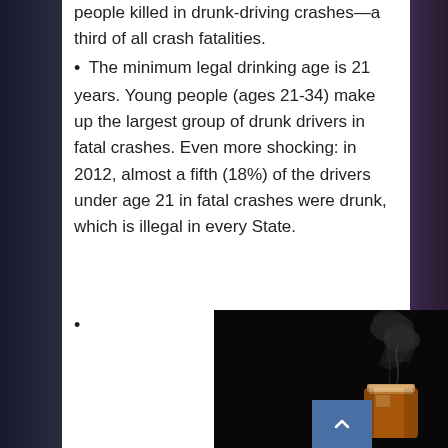people killed in drunk-driving crashes—a third of all crash fatalities.
• The minimum legal drinking age is 21 years. Young people (ages 21-34) make up the largest group of drunk drivers in fatal crashes. Even more shocking: in 2012, almost a fifth (18%) of the drivers under age 21 in fatal crashes were drunk, which is illegal in every State.
•
[Figure (illustration): Dark background image with a cocktail drink (beer/mixed drink) with smoke rising from it forming a skull shape. Red italic text reads: It won't take many of these treats to trick you up.]